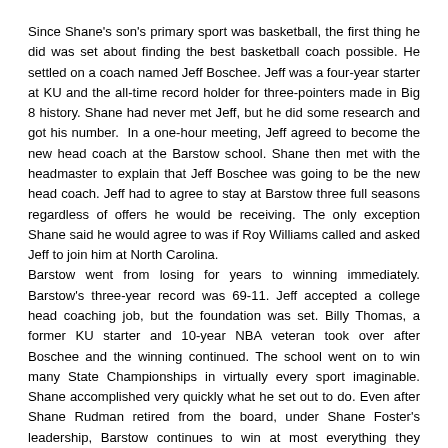Since Shane's son's primary sport was basketball, the first thing he did was set about finding the best basketball coach possible. He settled on a coach named Jeff Boschee. Jeff was a four-year starter at KU and the all-time record holder for three-pointers made in Big 8 history. Shane had never met Jeff, but he did some research and got his number. In a one-hour meeting, Jeff agreed to become the new head coach at the Barstow school. Shane then met with the headmaster to explain that Jeff Boschee was going to be the new head coach. Jeff had to agree to stay at Barstow three full seasons regardless of offers he would be receiving. The only exception Shane said he would agree to was if Roy Williams called and asked Jeff to join him at North Carolina.
Barstow went from losing for years to winning immediately. Barstow's three-year record was 69-11. Jeff accepted a college head coaching job, but the foundation was set. Billy Thomas, a former KU starter and 10-year NBA veteran took over after Boschee and the winning continued. The school went on to win many State Championships in virtually every sport imaginable. Shane accomplished very quickly what he set out to do. Even after Shane Rudman retired from the board, under Shane Foster's leadership, Barstow continues to win at most everything they participate in.